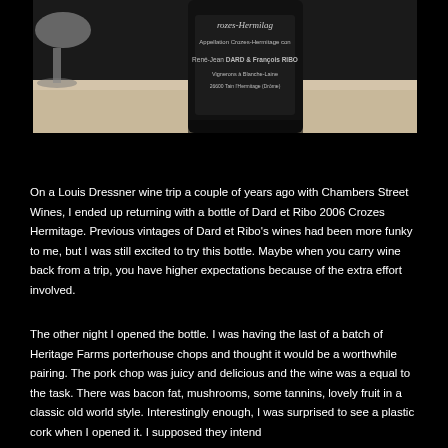[Figure (photo): Close-up photo of a dark wine bottle with a label reading 'Crozes-Hermitage', 'Appellation Crozes-Hermitage controlee', 'René-Jean DARD & François RIBO', 'Vignerons à Blanche-Laine', '26600 Tain l'Hermitage (Drôme)'. A wine glass is partially visible on the left side.]
On a Louis Dressner wine trip a couple of years ago with Chambers Street Wines, I ended up returning with a bottle of Dard et Ribo 2006 Crozes Hermitage. Previous vintages of Dard et Ribo's wines had been more funky to me, but I was still excited to try this bottle. Maybe when you carry wine back from a trip, you have higher expectations because of the extra effort involved.
The other night I opened the bottle. I was having the last of a batch of Heritage Farms porterhouse chops and thought it would be a worthwhile pairing. The pork chop was juicy and delicious and the wine was a equal to the task. There was bacon fat, mushrooms, some tannins, lovely fruit in a classic old world style. Interestingly enough, I was surprised to see a plastic cork when I opened it. I supposed they intend